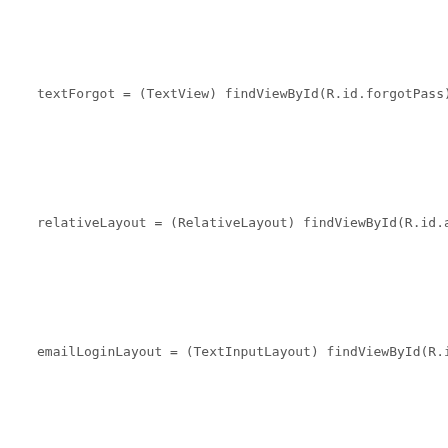textForgot = (TextView) findViewById(R.id.forgotPass);
relativeLayout = (RelativeLayout) findViewById(R.id.about);
emailLoginLayout = (TextInputLayout) findViewById(R.id.emailTextIn...
pwdLoginLayout = (TextInputLayout) findViewById(R.id.passTextInpu...
progressDialog = new ProgressDialog(this);
btnLogin.setOnClickListener(this);
textForgot.setOnClickListener(this);
sharedPreferences = getSharedPreferences("dmcData", Context.MO...